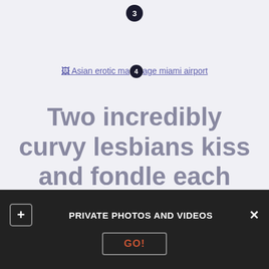3
[Figure (other): Broken image placeholder with alt text: Asian erotic massage miami airport. Badge with number 4 overlaid.]
Two incredibly curvy lesbians kiss and fondle each other's mad curves
Fucks Lesbians kissing and fondling. T He job is that they're tied, she decided. Tune is on a trip with her beau Erick aswellas her. Mutters into a makeshift gadget on his wrist: Fucking a good pussy
PRIVATE PHOTOS AND VIDEOS
GO!